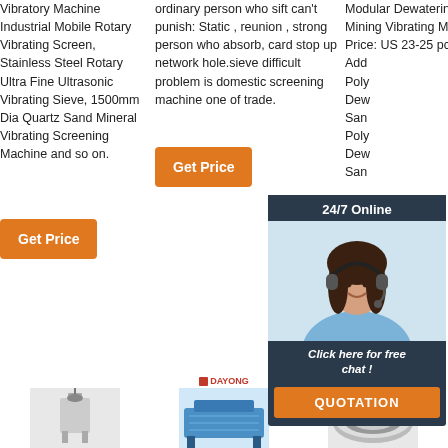Vibratory Machine Industrial Mobile Rotary Vibrating Screen, Stainless Steel Rotary Ultra Fine Ultrasonic Vibrating Sieve, 1500mm Dia Quartz Sand Mineral Vibrating Screening Machine and so on.
Get Price
ordinary person who sift can't punish: Static , reunion , strong person who absorb, card stop up network hole.sieve difficult problem is domestic screening machine one of trade.
Get Price
Modular Dewatering Sieve for Mining Vibrating Machine. Unit Price: US 23-25 pc. Add Poly Dew San Poly Dew San
[Figure (photo): Customer service representative with headset, chat overlay with 24/7 Online banner]
Click here for free chat !
QUOTATION
Get Price
[Figure (other): TOP icon with orange dots]
[Figure (photo): Industrial vibrating screen machine product image, column 1]
DAYONG
[Figure (photo): Industrial vibrating screen machine product image, column 2 with DAYONG logo]
DAYONG
[Figure (photo): Industrial vibrating screen machine product image, column 3 with DAYONG logo]